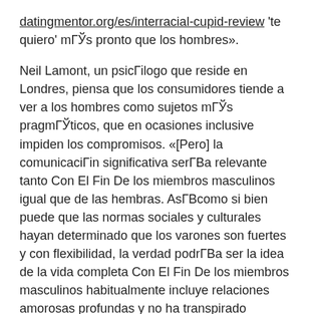datingmentor.org/es/interracial-cupid-review 'te quiero' mГЎs pronto que los hombres».
Neil Lamont, un psicГіlogo que reside en Londres, piensa que los consumidores tiende a ver a los hombres como sujetos mГЎs pragmГЎticos, que en ocasiones inclusive impiden los compromisos. «[Pero] la comunicaciГіn significativa serГВa relevante tanto Con El Fin De los miembros masculinos igual que de las hembras. AsГВ­como si bien puede que las normas sociales y culturales hayan determinado que los varones son fuertes y con flexibilidad, la verdad podrГВa ser la idea de la vida completa Con El Fin De los miembros masculinos habitualmente incluye relaciones amorosas profundas y no ha transpirado significativas».
Para los miembros masculinos, la